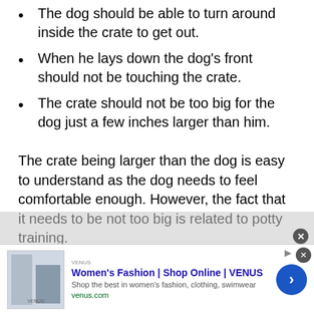The dog should be able to turn around inside the crate to get out.
When he lays down the dog's front should not be touching the crate.
The crate should not be too big for the dog just a few inches larger than him.
The crate being larger than the dog is easy to understand as the dog needs to feel comfortable enough. However, the fact that it needs to be not too big is related to potty training.
Dog trainers noticed that whenever the crate is too big for the dog he turns a corner into a potty corner and lives in the other. Dogs are fairly clean animals and
[Figure (screenshot): Advertisement banner for Women's Fashion Shop Online VENUS with close button, image thumbnail, title, description and arrow button]